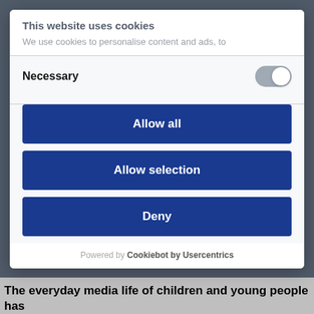The everyday media life of children and young people has
This website uses cookies
We use cookies to personalise content and ads, to
Necessary
Allow all
Allow selection
Deny
Powered by Cookiebot by Usercentrics